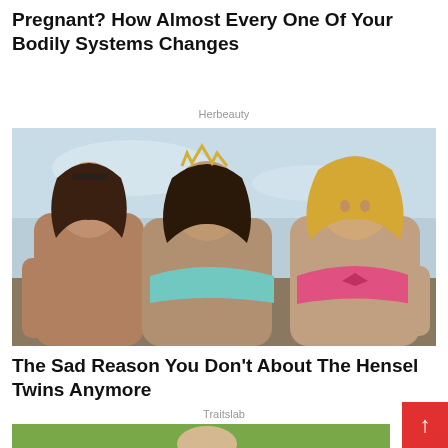Pregnant? How Almost Every One Of Your Bodily Systems Changes
Herbeauty
[Figure (photo): Three young women in bikinis posing together outdoors near a beach or waterfront. The woman on the left has dark hair, the woman in the middle wears a light blue bandeau bikini top and a small crown/tiara, and the woman on the right wears a pink bandeau bikini top.]
The Sad Reason You Don't About The Hensel Twins Anymore
Traitslab
[Figure (photo): Partial view of another photo at the bottom of the page, partially cut off, showing green foliage and the top of someone's head.]